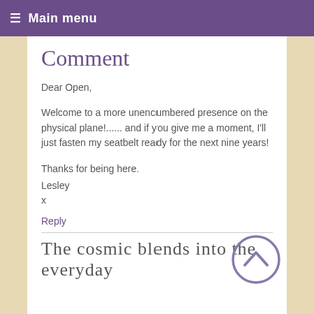≡ Main menu
Comment
Dear Open,

Welcome to a more unencumbered presence on the physical plane!...... and if you give me a moment, I'll just fasten my seatbelt ready for the next nine years!

Thanks for being here.
Lesley
x
Reply
The cosmic blends into the everyday